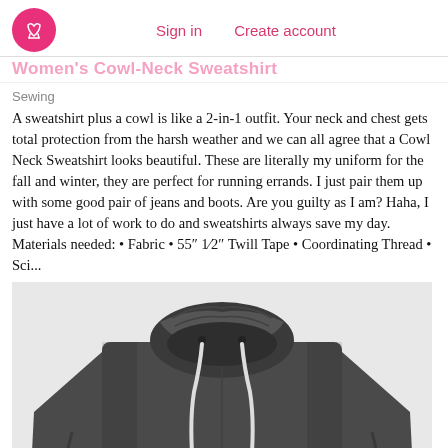Sign in   Create account
Women's Cowl-Neck Sweatshirt
Sewing
A sweatshirt plus a cowl is like a 2-in-1 outfit. Your neck and chest gets total protection from the harsh weather and we can all agree that a Cowl Neck Sweatshirt looks beautiful. These are literally my uniform for the fall and winter, they are perfect for running errands. I just pair them up with some good pair of jeans and boots. Are you guilty as I am? Haha, I just have a lot of work to do and sweatshirts always save my day. Materials needed: ● Fabric ● 55″ 1⁄2″ Twill Tape ● Coordinating Thread ● Sci...
[Figure (photo): Photo of a dark grey women's cowl neck sweatshirt with white drawstring, shown from the front on a white background.]